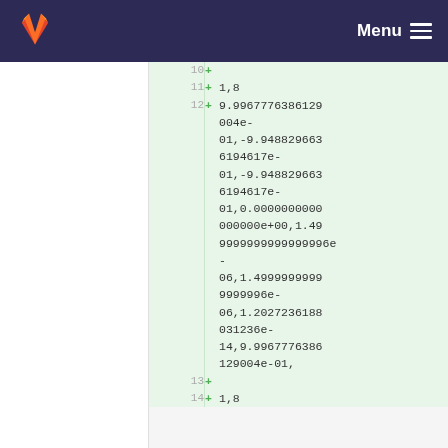Menu
10  +
11  + 1,8
12  + 9.9967776386129004e-01,-9.9488296636194617e-01,-9.9488296636194617e-01,0.0000000000000000e+00,1.4999999999999996e-06,1.4999999999999996e-06,1.2027236188031236e-14,9.9967776386129004e-01,
13  +
14  + 1,8